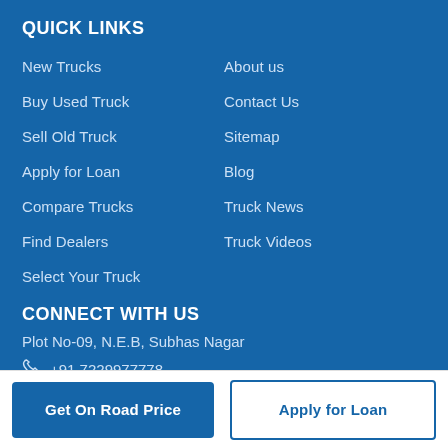QUICK LINKS
New Trucks
About us
Buy Used Truck
Contact Us
Sell Old Truck
Sitemap
Apply for Loan
Blog
Compare Trucks
Truck News
Find Dealers
Truck Videos
Select Your Truck
CONNECT WITH US
Plot No-09, N.E.B, Subhas Nagar
+91 7229977778
Get On Road Price
Apply for Loan